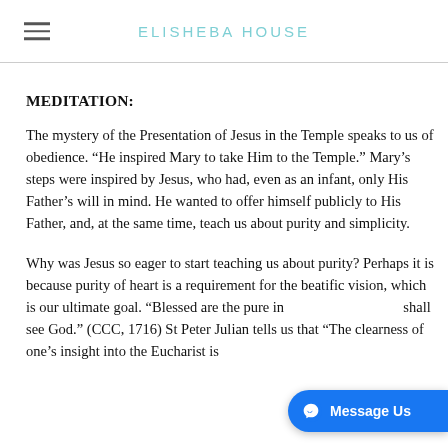ELISHEBA HOUSE
MEDITATION:
The mystery of the Presentation of Jesus in the Temple speaks to us of obedience. “He inspired Mary to take Him to the Temple.” Mary’s steps were inspired by Jesus, who had, even as an infant, only His Father’s will in mind. He wanted to offer himself publicly to His Father, and, at the same time, teach us about purity and simplicity.
Why was Jesus so eager to start teaching us about purity? Perhaps it is because purity of heart is a requirement for the beatific vision, which is our ultimate goal. “Blessed are the pure in [heart, they] shall see God.” (CCC, 1716) St Peter Julian tells us that “The clearness of one’s insight into the Eucharist is